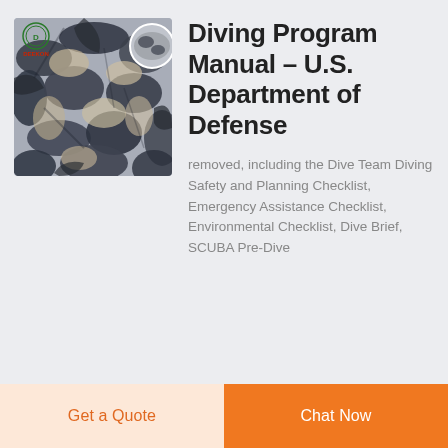[Figure (photo): Book cover showing camouflage fabric material with DEEKON logo in the top left corner. The cover shows dark blue and grey camouflage pattern fabric.]
Diving Program Manual – U.S. Department of Defense
removed, including the Dive Team Diving Safety and Planning Checklist, Emergency Assistance Checklist, Environmental Checklist, Dive Brief, SCUBA Pre-Dive
Get a Quote
Chat Now